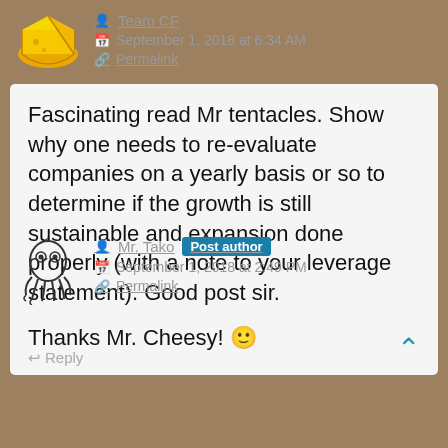[Figure (illustration): Yellow cheese wedge avatar icon]
Team CF
September 1, 2018 at 6:34 AM
Permalink
Fascinating read Mr tentacles. Show why one needs to re-evaluate companies on a yearly basis or so to determine if the growth is still sustainable and expansion done properly (with a note to your leverage statement). Good post sir.
Reply
[Figure (illustration): Black and white octopus avatar illustration]
Mr. Tako Post author
September 1, 2018 at 2:49 PM
Permalink
Thanks Mr. Cheesy! 🙂
Reply